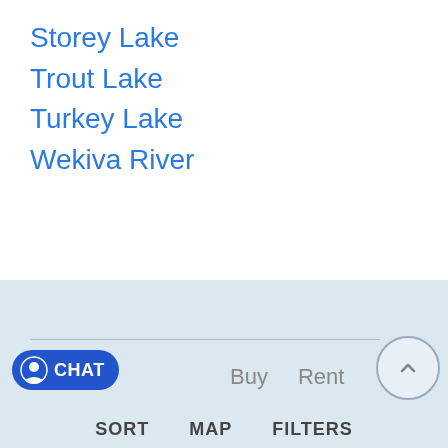Storey Lake
Trout Lake
Turkey Lake
Wekiva River
[Figure (illustration): Connect-A-Dock advertisement banner showing logo, a jet ski on a floating dock, and text: Floating Docks, PWC Drive On, Kayak Launch]
Buy   Rent
CHAT
SORT   MAP   FILTERS